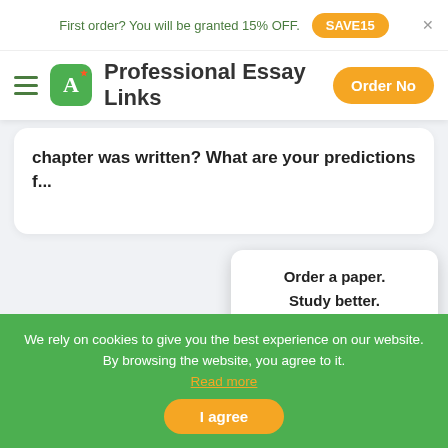First order? You will be granted 15% OFF. SAVE15
Professional Essay Links  Order Now
chapter was written? What are your predictions f...
Order a paper. Study better. Sleep tight. Calculate Price!
[Figure (illustration): Owl mascot holding a star, with an orange calculator circle button]
We rely on cookies to give you the best experience on our website. By browsing the website, you agree to it. Read more  I agree